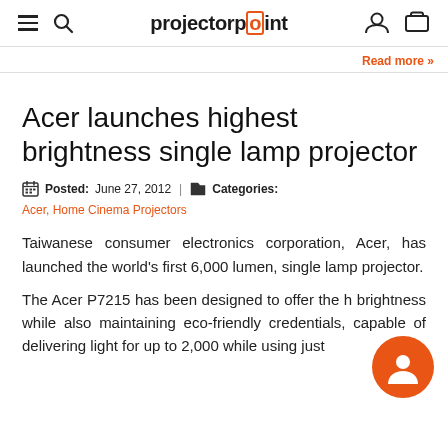projectorpoint
Read more »
Acer launches highest brightness single lamp projector
Posted: June 27, 2012 | Categories: Acer, Home Cinema Projectors
Taiwanese consumer electronics corporation, Acer, has launched the world's first 6,000 lumen, single lamp projector.
The Acer P7215 has been designed to offer the h brightness while also maintaining eco-friendly credentials, capable of delivering light for up to 2,000 while using just